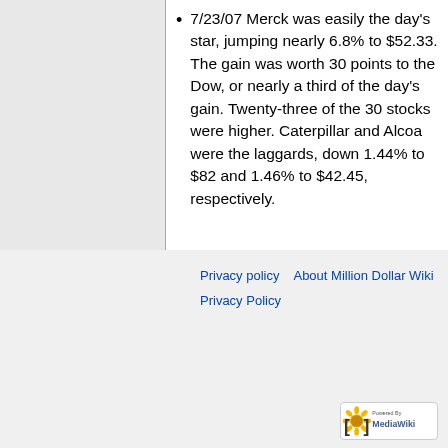7/23/07 Merck was easily the day's star, jumping nearly 6.8% to $52.33. The gain was worth 30 points to the Dow, or nearly a third of the day's gain. Twenty-three of the 30 stocks were higher. Caterpillar and Alcoa were the laggards, down 1.44% to $82 and 1.46% to $42.45, respectively.
Privacy policy   About Million Dollar Wiki   Privacy Policy